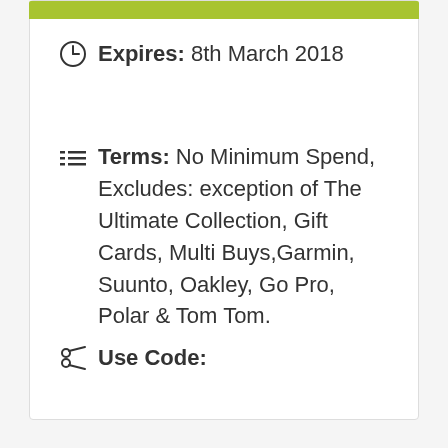Expires: 8th March 2018
Terms: No Minimum Spend, Excludes: exception of The Ultimate Collection, Gift Cards, Multi Buys,Garmin, Suunto, Oakley, Go Pro, Polar & Tom Tom.
Use Code: